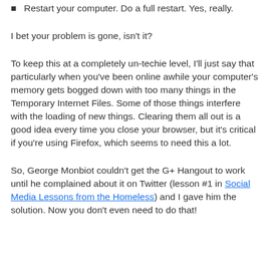Restart your computer. Do a full restart. Yes, really.
I bet your problem is gone, isn't it?
To keep this at a completely un-techie level, I'll just say that particularly when you've been online awhile your computer's memory gets bogged down with too many things in the Temporary Internet Files. Some of those things interfere with the loading of new things. Clearing them all out is a good idea every time you close your browser, but it's critical if you're using Firefox, which seems to need this a lot.
So, George Monbiot couldn't get the G+ Hangout to work until he complained about it on Twitter (lesson #1 in Social Media Lessons from the Homeless) and I gave him the solution. Now you don't even need to do that!